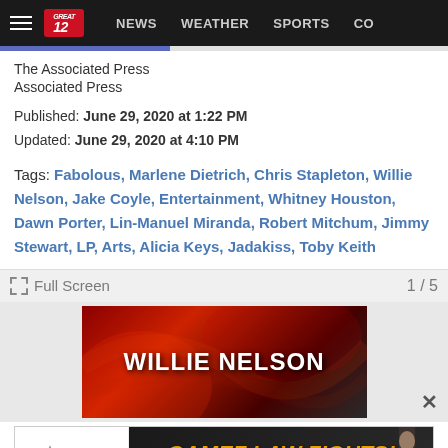GREAT 12 — NEWS  WEATHER  SPORTS  CO
The Associated Press
Associated Press
Published: June 29, 2020 at 1:22 PM
Updated: June 29, 2020 at 4:10 PM
Tags: Fabolous, Marlene Dietrich, Chris Stapleton, Willie Nelson, Jake Coyle, Entertainment, Whitney Houston, Dawn Porter, Lin-Manuel Miranda, Robert Mitchum, Jimmy Stewart, LP, Arts, Alicia Keys, Jadakiss, Toby Keith
[Figure (screenshot): Willie Nelson title card image with red/dark background and white bold text reading WILLIE NELSON]
Full Screen   1 / 5
[Figure (photo): Gamez Law Firm advertisement banner: GAMEZ LAW FIGHTS! Trust & Integrity Since 1973, with logo and man in suit photo]